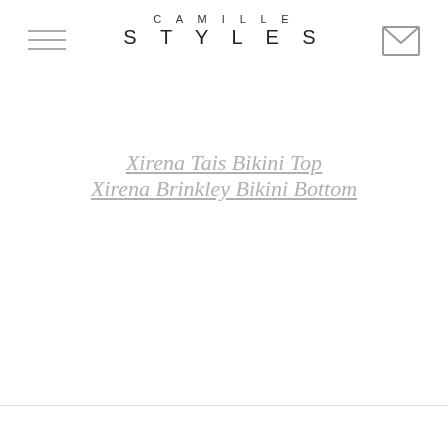CAMILLE STYLES
Xirena Tais Bikini Top
Xirena Brinkley Bikini Bottom